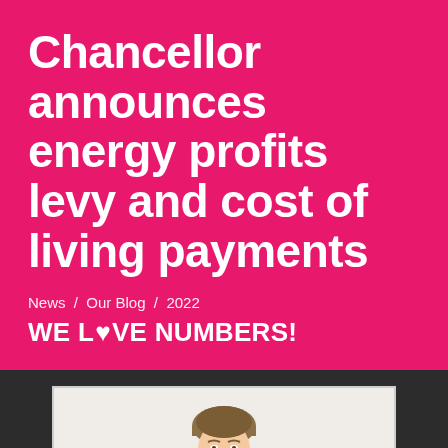Chancellor announces energy profits levy and cost of living payments
News / Our Blog / 2022
WE LOVE NUMBERS!
[Figure (photo): Photo of a person (the Chancellor) shown from the shoulders up, displayed in a rectangular frame with a light border against a dark background.]